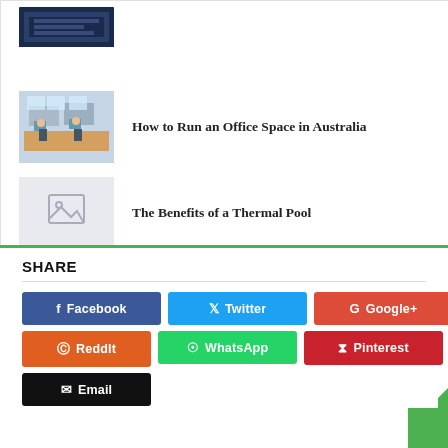How to Run an Office Space in Australia
The Benefits of a Thermal Pool
SHARE
Facebook
Twitter
Google+
ReddIt
WhatsApp
Pinterest
Email